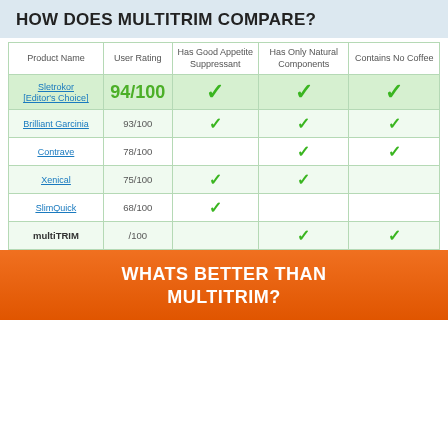HOW DOES MULTITRIM COMPARE?
| Product Name | User Rating | Has Good Appetite Suppressant | Has Only Natural Components | Contains No Coffee |
| --- | --- | --- | --- | --- |
| Sletrokor [Editor's Choice] | 94/100 | ✓ | ✓ | ✓ |
| Brilliant Garcinia | 93/100 | ✓ | ✓ | ✓ |
| Contrave | 78/100 |  | ✓ | ✓ |
| Xenical | 75/100 | ✓ | ✓ |  |
| SlimQuick | 68/100 | ✓ |  |  |
| multiTRIM | /100 |  | ✓ | ✓ |
WHATS BETTER THAN MULTITRIM?